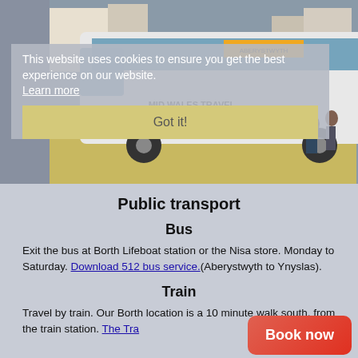[Figure (photo): A white mid Wales Travel bus parked at a town stop with people boarding, urban street background.]
This website uses cookies to ensure you get the best experience on our website. Learn more
Got it!
Public transport
Bus
Exit the bus at Borth Lifeboat station or the Nisa store. Monday to Saturday. Download 512 bus service.(Aberystwyth to Ynyslas).
Train
Travel by train. Our Borth location is a 10 minute walk south, from the train station. The Tra...